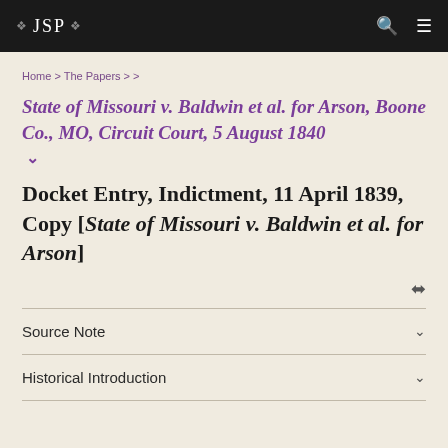❖ JSP ❖
Home > The Papers > >
State of Missouri v. Baldwin et al. for Arson, Boone Co., MO, Circuit Court, 5 August 1840
Docket Entry, Indictment, 11 April 1839, Copy [State of Missouri v. Baldwin et al. for Arson]
Source Note
Historical Introduction